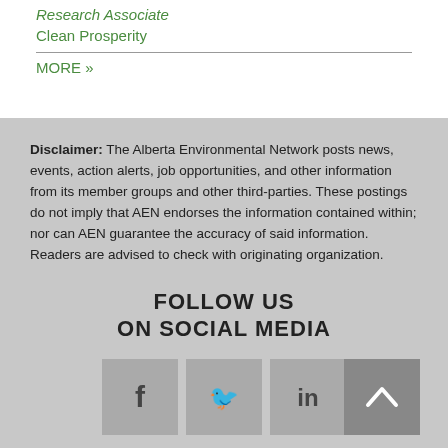Research Associate
Clean Prosperity
MORE »
Disclaimer: The Alberta Environmental Network posts news, events, action alerts, job opportunities, and other information from its member groups and other third-parties. These postings do not imply that AEN endorses the information contained within; nor can AEN guarantee the accuracy of said information. Readers are advised to check with originating organization.
FOLLOW US
ON SOCIAL MEDIA
[Figure (infographic): Social media icons: Facebook (f), Twitter (bird), LinkedIn (in), and an up-arrow back-to-top button]